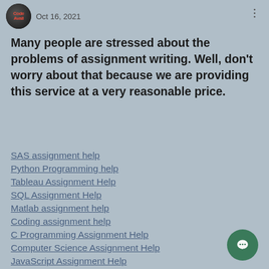Oct 16, 2021
Many people are stressed about the problems of assignment writing. Well, don't worry about that because we are providing this service at a very reasonable price.
SAS assignment help
Python Programming help
Tableau Assignment Help
SQL Assignment Help
Matlab assignment help
Coding assignment help
C Programming Assignment Help
Computer Science Assignment Help
JavaScript Assignment Help
R Programming Assignment Help
Python Homework Help
Java Assignment Help
Java Programming Help
C++ Programming Help